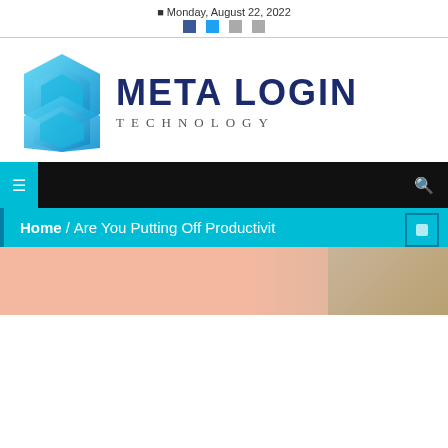Monday, August 22, 2022
[Figure (logo): Meta Login Technology logo with blue hexagon icon and bold dark blue text META LOGIN with TECHNOLOGY subtitle]
Navigation bar with menu toggle and search icon
Home / Are You Putting Off Productivit
[Figure (photo): Article header image with pink and tan tones, partial view of a room interior]